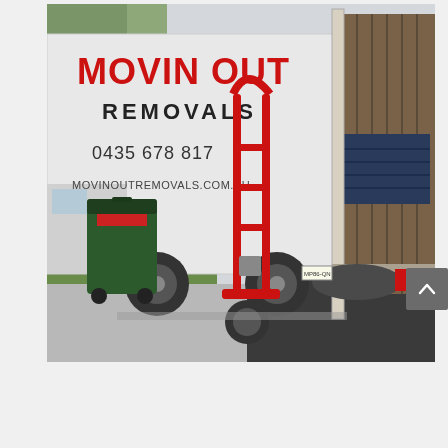[Figure (photo): A white removal truck with 'MOVIN OUT REMOVALS' written in red on the side, along with phone number 0435 678 817 and website MOVINOUTREMOVALS.COM.AU. A red hand trolley/sack truck stands in front of the open truck. The truck's rear door is open showing moving blankets inside. A dark green wheelie bin is visible to the left on grass. The scene is in a suburban driveway.]